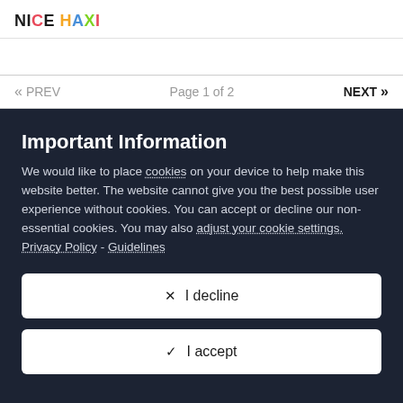NICE HAXI
« PREV   Page 1 of 2   NEXT »
Important Information
We would like to place cookies on your device to help make this website better. The website cannot give you the best possible user experience without cookies. You can accept or decline our non-essential cookies. You may also adjust your cookie settings. Privacy Policy - Guidelines
✕  I decline
✓  I accept